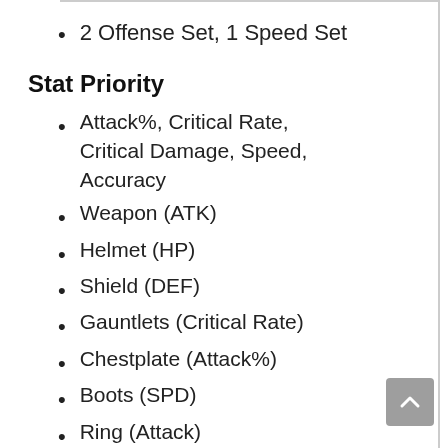2 Offense Set, 1 Speed Set
Stat Priority
Attack%, Critical Rate, Critical Damage, Speed, Accuracy
Weapon (ATK)
Helmet (HP)
Shield (DEF)
Gauntlets (Critical Rate)
Chestplate (Attack%)
Boots (SPD)
Ring (Attack)